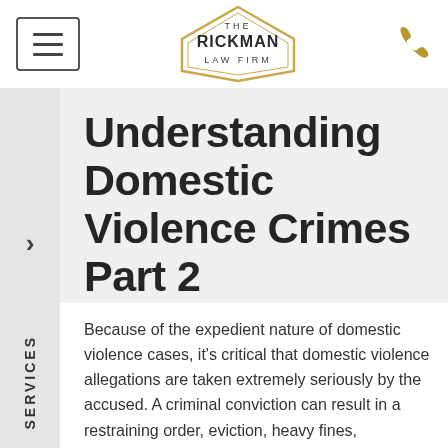[Figure (logo): The Rickman Law Firm hexagon logo in dark/gold colors]
Understanding Domestic Violence Crimes Part 2
Because of the expedient nature of domestic violence cases, it's critical that domestic violence allegations are taken extremely seriously by the accused. A criminal conviction can result in a restraining order, eviction, heavy fines, imprisonment, or loss of child custody. These penalties only grow in